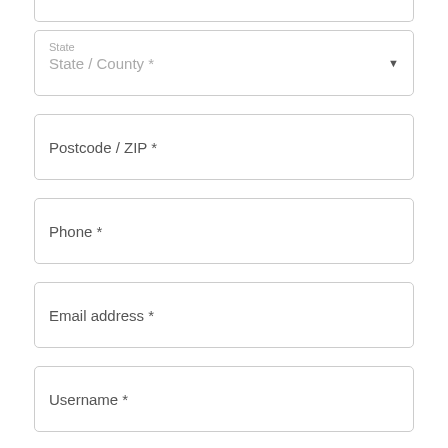[Figure (screenshot): Partial form field at top of page, cut off, showing bottom portion of a form input box]
State / County *
Postcode / ZIP *
Phone *
Email address *
Username *
Password *